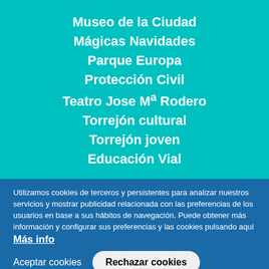Museo de la Ciudad
Mágicas Navidades
Parque Europa
Protección Civil
Teatro Jose Mª Rodero
Torrejón cultural
Torrejón joven
Educación Vial
Utilizamos cookies de terceros y persistentes para analizar nuestros servicios y mostrar publicidad relacionada con las preferencias de los usuarios en base a sus hábitos de navegación. Puede obtener más información y configurar sus preferencias y las cookies pulsando aquí Más info
Aceptar cookies  Rechazar cookies